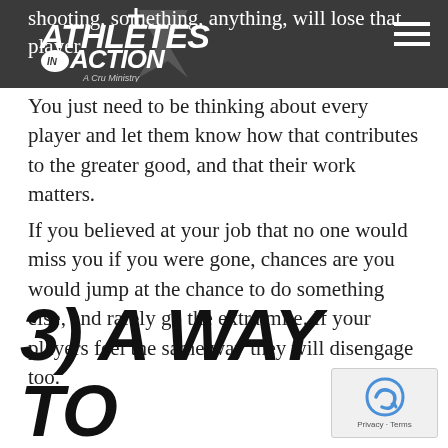Athletes in Action – A Cru Ministry
shooting, something, anything, will lose that player.
You just need to be thinking about every player and let them know how that contributes to the greater good, and that their work matters.
If you believed at your job that no one would miss you if you were gone, chances are you would jump at the chance to do something else, and rarely go the extra mile. If your players feel the same way they will disengage too.
3) A WAY TO MEASURE